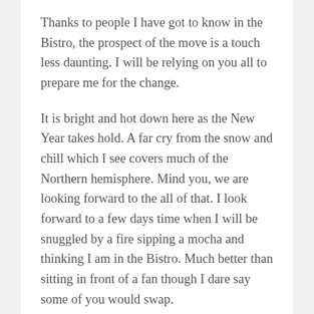Thanks to people I have got to know in the Bistro, the prospect of the move is a touch less daunting. I will be relying on you all to prepare me for the change.
It is bright and hot down here as the New Year takes hold. A far cry from the snow and chill which I see covers much of the Northern hemisphere. Mind you, we are looking forward to the all of that. I look forward to a few days time when I will be snuggled by a fire sipping a mocha and thinking I am in the Bistro. Much better than sitting in front of a fan though I dare say some of you would swap.
In additional preparation for our move to Washington, we have been bingewatching, one of the words of 2014, The West Wing. I am not sure if there are fans among this crowd but it does remind me of Louise’s heart and